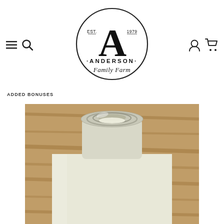[Figure (logo): Anderson Family Farm circular logo with large letter A, EST. 1979 text, and script 'Family Farm' text below]
ADDED BONUSES
[Figure (photo): Close-up photo of a glass milk bottle opening, showing the neck and rim from above, with white milk visible inside, set on a wooden surface]